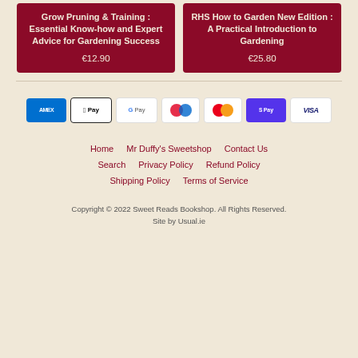[Figure (other): Book product card: 'Grow Pruning & Training : Essential Know-how and Expert Advice for Gardening Success' priced at €12.90, dark red background]
[Figure (other): Book product card: 'RHS How to Garden New Edition : A Practical Introduction to Gardening' priced at €25.80, dark red background]
[Figure (other): Payment method icons: American Express (AMEX), Apple Pay, Google Pay, Maestro, Mastercard, Shop Pay, Visa]
Home
Mr Duffy's Sweetshop
Contact Us
Search
Privacy Policy
Refund Policy
Shipping Policy
Terms of Service
Copyright © 2022 Sweet Reads Bookshop. All Rights Reserved.
Site by Usual.ie